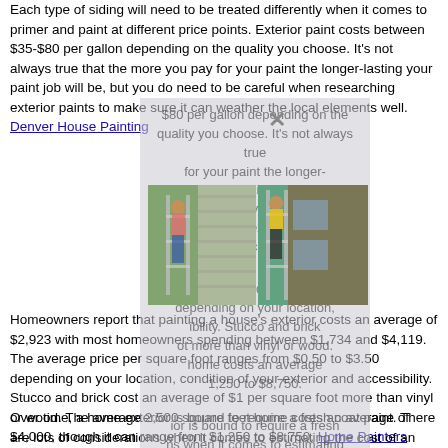Each type of siding will need to be treated differently when it comes to primer and paint at different price points. Exterior paint costs between $35-$80 per gallon depending on the quality you choose. It's not always true that the more you pay for your paint the longer-lasting your paint job will be, but you do need to be careful when researching exterior paints to make sure it can weather the local elements well.
Denver House Painting
[Figure (photo): Two photos of house painters working on exterior siding, shown in a horizontal strip]
Homeowners report that painting a house's exterior costs an average of $2,923 with most homeowners spending between $1,734 and $4,119. The average price per square foot ranges from $0.50 to $3.50 depending on your location, condition of your exterior and accessibility. Stucco and brick cost an average of $1 per square foot more than vinyl or wood. The average 2,500 square feet home costs an average of $4,000, though it can range from $1,250 to $8,750. Home Painters Denver CO
Over time, a home exterior is bound to require a fresh coat paint. There are lots of considerations when it comes to estimating the cost of an exterior paint job: the number of square feet to be covered, the level of complexity involved in terms of decorative details to work around, the